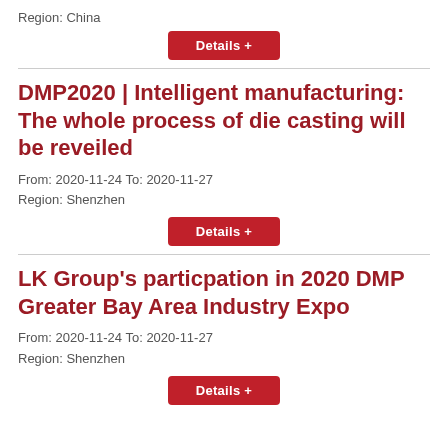Region: China
Details +
DMP2020 | Intelligent manufacturing: The whole process of die casting will be reveiled
From: 2020-11-24 To: 2020-11-27
Region: Shenzhen
Details +
LK Group's particpation in 2020 DMP Greater Bay Area Industry Expo
From: 2020-11-24 To: 2020-11-27
Region: Shenzhen
Details +